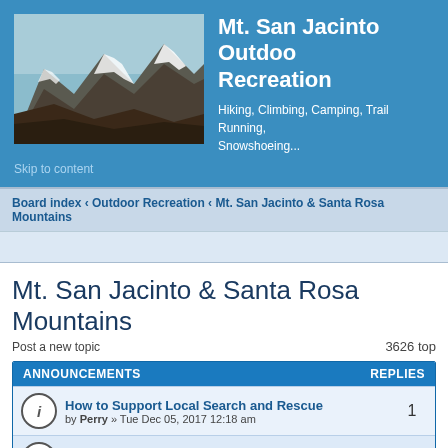[Figure (photo): Mountain photo showing Mt. San Jacinto with snow-capped peaks]
Mt. San Jacinto Outdoor Recreation
Hiking, Climbing, Camping, Trail Running, Snowshoeing...
Skip to content
Board index « Outdoor Recreation « Mt. San Jacinto & Santa Rosa Mountains
Mt. San Jacinto & Santa Rosa Mountains
Post a new topic
3626 top
ANNOUNCEMENTS
REPLIES
How to Support Local Search and Rescue
by Perry » Tue Dec 05, 2017 12:18 am
1
Registering and Posting Messages
by Perry » Mon Nov 10, 2014 8:10 pm
1
TOPICS
REPLIES